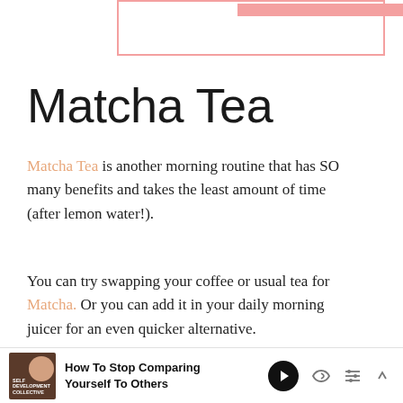[Figure (illustration): Partial top of a pink-bordered box with a pink filled bar at the top, cropped at top of page]
Matcha Tea
Matcha Tea is another morning routine that has SO many benefits and takes the least amount of time (after lemon water!).
You can try swapping your coffee or usual tea for Matcha. Or you can add it in your daily morning juicer for an even quicker alternative.
Matcha's become a bit of a fad now bu...
How To Stop Comparing Yourself To Others